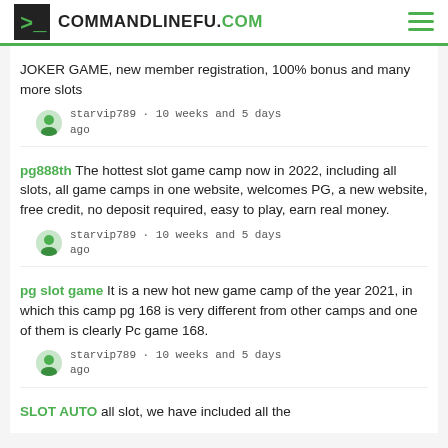COMMANDLINEFU.COM
JOKER GAME, new member registration, 100% bonus and many more slots
starvip789 · 10 weeks and 5 days ago
pg888th The hottest slot game camp now in 2022, including all slots, all game camps in one website, welcomes PG, a new website, free credit, no deposit required, easy to play, earn real money.
starvip789 · 10 weeks and 5 days ago
pg slot game It is a new hot new game camp of the year 2021, in which this camp pg 168 is very different from other camps and one of them is clearly Pc game 168.
starvip789 · 10 weeks and 5 days ago
SLOT AUTO all slot, we have included all the